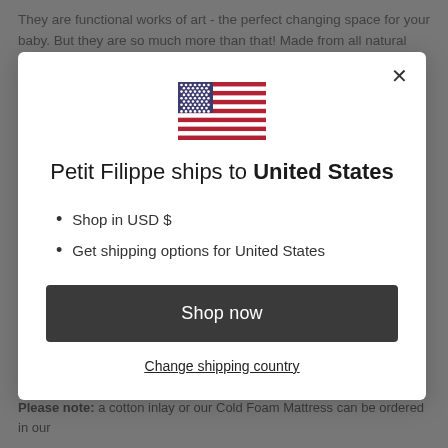They are functional works of art - the perfect changing space for your baby. But they are so much more than that! Made from all natural materials and woven
[Figure (screenshot): Modal dialog showing US flag, shipping information for United States, list items, Shop now button, and Change shipping country link]
Dimensions (approx): L: 76cm x W: 42cm x H: 13cm
Please note: a cotton inlay or our Cold Foam Mattress can be ordered in our